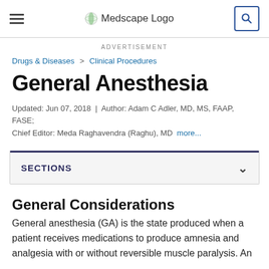Medscape Logo
ADVERTISEMENT
Drugs & Diseases > Clinical Procedures
General Anesthesia
Updated: Jun 07, 2018 | Author: Adam C Adler, MD, MS, FAAP, FASE; Chief Editor: Meda Raghavendra (Raghu), MD more...
SECTIONS
General Considerations
General anesthesia (GA) is the state produced when a patient receives medications to produce amnesia and analgesia with or without reversible muscle paralysis. An